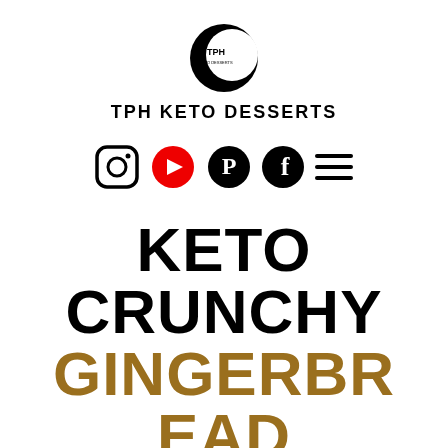[Figure (logo): TPH Keto Desserts logo: crescent moon with 'TPH' text inside a circle]
TPH KETO DESSERTS
[Figure (infographic): Social media icons row: Instagram, YouTube (red), Pinterest, Facebook, and hamburger menu icon]
KETO CRUNCHY GINGERBREAD